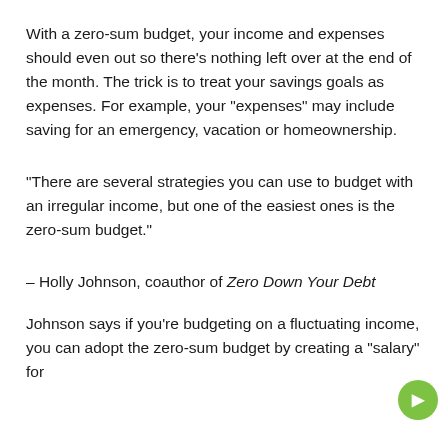With a zero-sum budget, your income and expenses should even out so there's nothing left over at the end of the month. The trick is to treat your savings goals as expenses. For example, your "expenses" may include saving for an emergency, vacation or homeownership.
"There are several strategies you can use to budget with an irregular income, but one of the easiest ones is the zero-sum budget."
– Holly Johnson, coauthor of Zero Down Your Debt
Johnson says if you're budgeting on a fluctuating income, you can adopt the zero-sum budget by creating a "salary" for